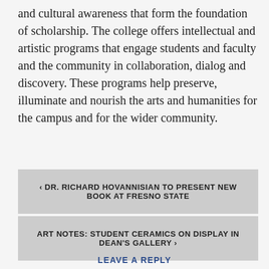and cultural awareness that form the foundation of scholarship. The college offers intellectual and artistic programs that engage students and faculty and the community in collaboration, dialog and discovery. These programs help preserve, illuminate and nourish the arts and humanities for the campus and for the wider community.
< DR. RICHARD HOVANNISIAN TO PRESENT NEW BOOK AT FRESNO STATE
ART NOTES: STUDENT CERAMICS ON DISPLAY IN DEAN'S GALLERY >
LEAVE A REPLY